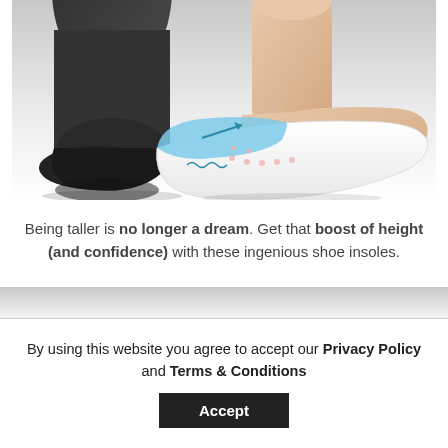[Figure (photo): Two feet side by side on a white background. The left foot wears a black sock. The right foot wears a white and blue gel heel insole/lift pad with decorative markings.]
Being taller is no longer a dream. Get that boost of height (and confidence) with these ingenious shoe insoles.
By using this website you agree to accept our Privacy Policy and Terms & Conditions
Accept